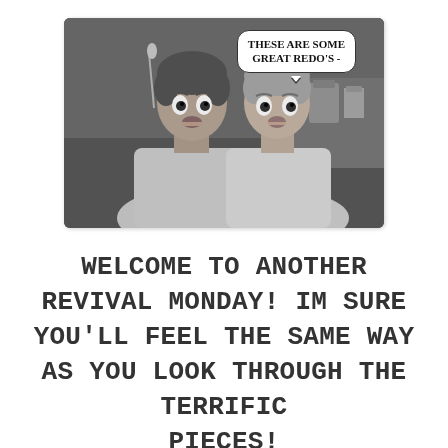[Figure (photo): Black-and-white vintage photo of two women looking surprised, with a speech bubble reading 'THESE ARE SOME GREAT REDO'S -']
WELCOME TO ANOTHER REVIVAL MONDAY! IM SURE YOU'LL FEEL THE SAME WAY AS YOU LOOK THROUGH THE TERRIFIC PIECES!